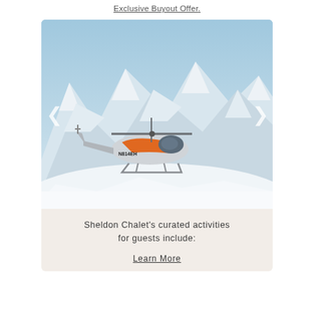Exclusive Buyout Offer.
[Figure (photo): A white and orange helicopter with registration N814EH landed on a snowy mountain landscape with dramatic snow-covered peaks under a bright blue sky. Left and right navigation arrows are visible on the sides of the image.]
Sheldon Chalet's curated activities for guests include:
Learn More